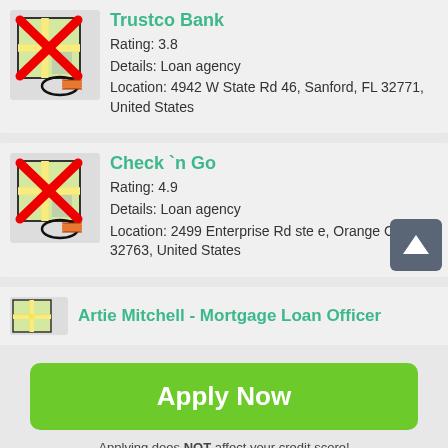[Figure (screenshot): Map pin icon with red X overlay for Trustco Bank]
Trustco Bank
Rating: 3.8
Details: Loan agency
Location: 4942 W State Rd 46, Sanford, FL 32771, United States
[Figure (screenshot): Map pin icon with red X overlay for Check n Go]
Check `n Go
Rating: 4.9
Details: Loan agency
Location: 2499 Enterprise Rd ste e, Orange City, FL 32763, United States
[Figure (screenshot): Partial map pin icon for Artie Mitchell]
Artie Mitchell - Mortgage Loan Officer
Apply Now
Applying does NOT affect your credit score! No credit check to apply.